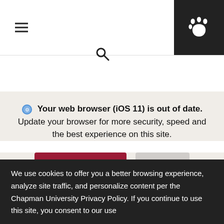[Figure (screenshot): Navigation bar with hamburger menu icon, search icon, and paw print icon on dark background]
Your web browser (iOS 11) is out of date. Update your browser for more security, speed and the best experience on this site.
[Figure (screenshot): Two buttons: 'Update browser' (dark red) and 'Ignore' (light gray)]
[Figure (photo): Two dark red/maroon image blocks representing a carousel of university photos, with left and right navigation arrows]
We use cookies to offer you a better browsing experience, analyze site traffic, and personalize content per the Chapman University Privacy Policy. If you continue to use this site, you consent to our use